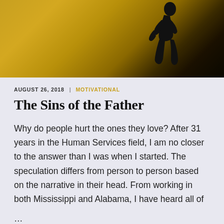[Figure (photo): A silhouetted figure kneeling or crouching against a warm golden-amber sunset background]
AUGUST 26, 2018  |  MOTIVATIONAL
The Sins of the Father
Why do people hurt the ones they love? After 31 years in the Human Services field, I am no closer to the answer than I was when I started. The speculation differs from person to person based on the narrative in their head. From working in both Mississippi and Alabama, I have heard all of
…